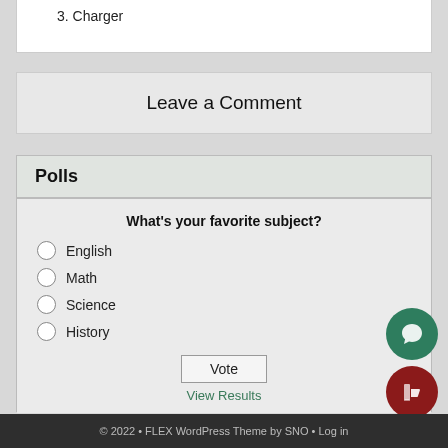3. Charger
Leave a Comment
Polls
What's your favorite subject?
English
Math
Science
History
Vote
View Results
Polls Archive
© 2022 • FLEX WordPress Theme by SNO • Log in